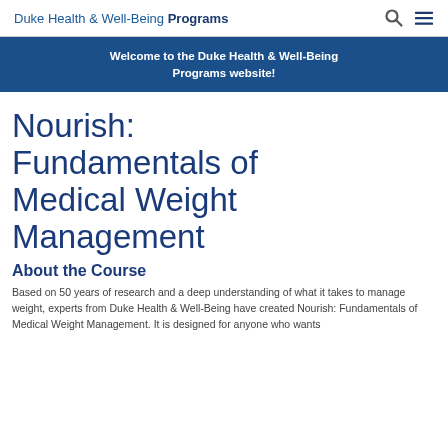Duke Health & Well-Being Programs
Welcome to the Duke Health & Well-Being Programs website!
Nourish: Fundamentals of Medical Weight Management
About the Course
Based on 50 years of research and a deep understanding of what it takes to manage weight, experts from Duke Health & Well-Being have created Nourish: Fundamentals of Medical Weight Management. It is designed for anyone who wants